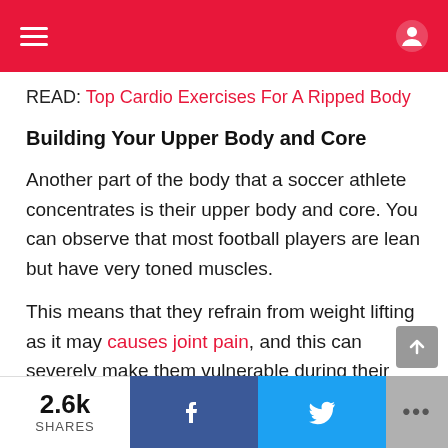≡ (nav bar with hamburger menu and icons)
READ: Top Cardio Exercises For A Ripped Body
Building Your Upper Body and Core
Another part of the body that a soccer athlete concentrates is their upper body and core. You can observe that most football players are lean but have very toned muscles.
This means that they refrain from weight lifting as it may causes joint pain, and this can severely make them vulnerable during their games. They, however, work on specific muscle groups in the body.
2.6k SHARES  [Facebook share]  [Twitter share]  [More]